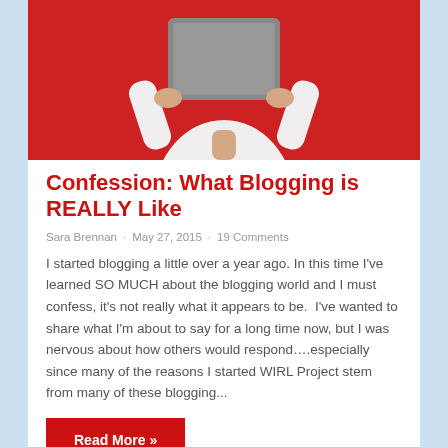[Figure (photo): Person in white shirt holding a gray laptop/book up in front of their face against a red background]
Confession: What Blogging is REALLY Like
Sara Brennan · May 27, 2015 · 19 Comments
I started blogging a little over a year ago. In this time I've learned SO MUCH about the blogging world and I must confess, it's not really what it appears to be.  I've wanted to share what I'm about to say for a long time now, but I was nervous about how others would respond….especially since many of the reasons I started WIRL Project stem from many of these blogging...
Read More »